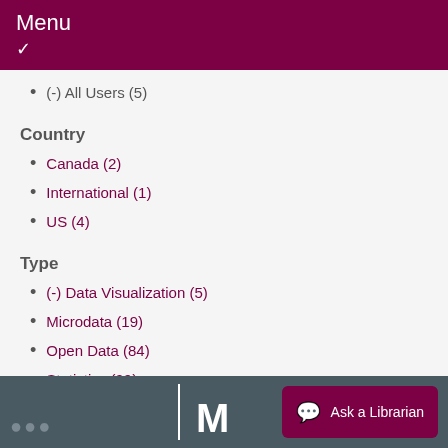Menu
(-) All Users (5)
Country
Canada (2)
International (1)
US (4)
Type
(-) Data Visualization (5)
Microdata (19)
Open Data (84)
Statistics (99)
Ask a Librarian